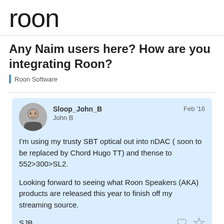roon
Any Naim users here? How are you integrating Roon?
Roon Software
Sloop_John_B
John B
Feb '16

I'm using my trusty SBT optical out into nDAC ( soon to be replaced by Chord Hugo TT) and thense to 552>300>SL2.

Looking forward to seeing what Roon Speakers (AKA) products are released this year to finish off my streaming source.

SJB
1 / 12